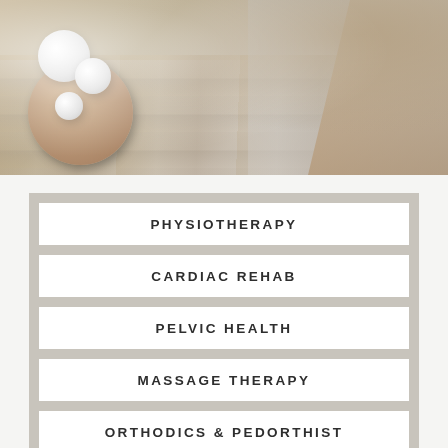[Figure (photo): Top portion showing spa/physiotherapy themed photo with white spherical objects on a wooden tray and grey-blue wooden slat surface in the background, with beige/tan fabric at top right]
PHYSIOTHERAPY
CARDIAC REHAB
PELVIC HEALTH
MASSAGE THERAPY
ORTHODICS & PEDORTHIST
VESTIBULAR REHAB